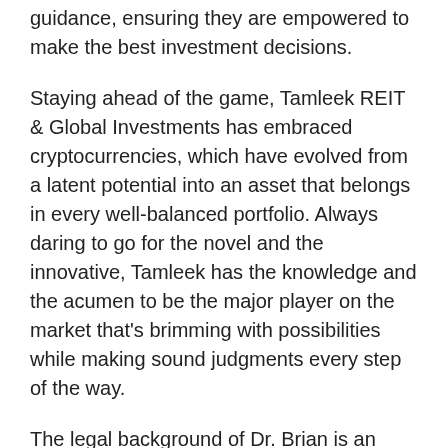guidance, ensuring they are empowered to make the best investment decisions.
Staying ahead of the game, Tamleek REIT & Global Investments has embraced cryptocurrencies, which have evolved from a latent potential into an asset that belongs in every well-balanced portfolio. Always daring to go for the novel and the innovative, Tamleek has the knowledge and the acumen to be the major player on the market that's brimming with possibilities while making sound judgments every step of the way.
The legal background of Dr. Brian is an added advantage when dealing with highly complicated contracts and gives developers insights into both the real estate industry and the legalities that go with the property and real estate deals.